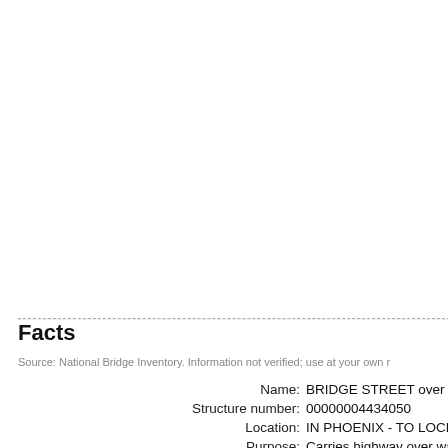Facts
Source: National Bridge Inventory. Information not verified; use at your own r
Name: BRIDGE STREET over D
Structure number: 00000004434050
Location: IN PHOENIX - TO LOCK
Purpose: Carries highway over wa